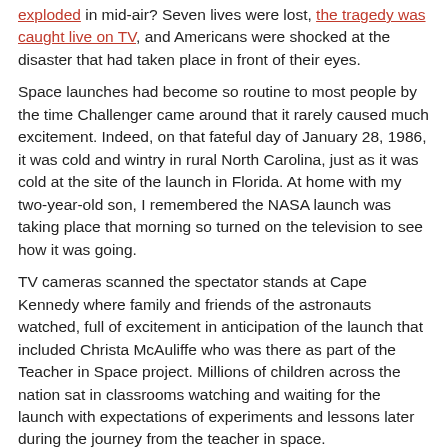exploded in mid-air? Seven lives were lost, the tragedy was caught live on TV, and Americans were shocked at the disaster that had taken place in front of their eyes.
Space launches had become so routine to most people by the time Challenger came around that it rarely caused much excitement. Indeed, on that fateful day of January 28, 1986, it was cold and wintry in rural North Carolina, just as it was cold at the site of the launch in Florida. At home with my two-year-old son, I remembered the NASA launch was taking place that morning so turned on the television to see how it was going.
TV cameras scanned the spectator stands at Cape Kennedy where family and friends of the astronauts watched, full of excitement in anticipation of the launch that included Christa McAuliffe who was there as part of the Teacher in Space project. Millions of children across the nation sat in classrooms watching and waiting for the launch with expectations of experiments and lessons later during the journey from the teacher in space.